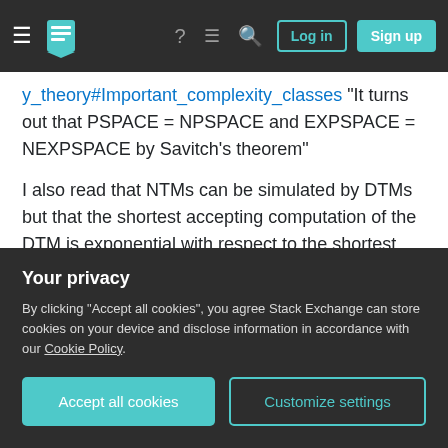Navigation bar with hamburger menu, Stack Exchange logo, help, chat, search icons, Log in and Sign up buttons
y_theory#Important_complexity_classes "It turns out that PSPACE = NPSPACE and EXPSPACE = NEXPSPACE by Savitch's theorem"
I also read that NTMs can be simulated by DTMs but that the shortest accepting computation of the DTM is exponential with respect to the shortest accepting computation of the target NTM.
My questions are:
1.) Are PSPACE and NPSPACE the set of all
Your privacy
By clicking "Accept all cookies", you agree Stack Exchange can store cookies on your device and disclose information in accordance with our Cookie Policy.
Accept all cookies | Customize settings